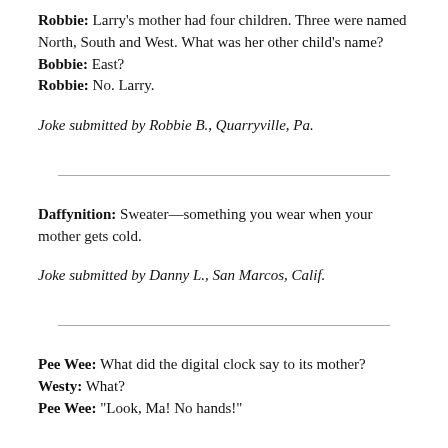Robbie: Larry's mother had four children. Three were named North, South and West. What was her other child's name?
Bobbie: East?
Robbie: No. Larry.
Joke submitted by Robbie B., Quarryville, Pa.
Daffynition: Sweater—something you wear when your mother gets cold.
Joke submitted by Danny L., San Marcos, Calif.
Pee Wee: What did the digital clock say to its mother?
Westy: What?
Pee Wee: "Look, Ma! No hands!"